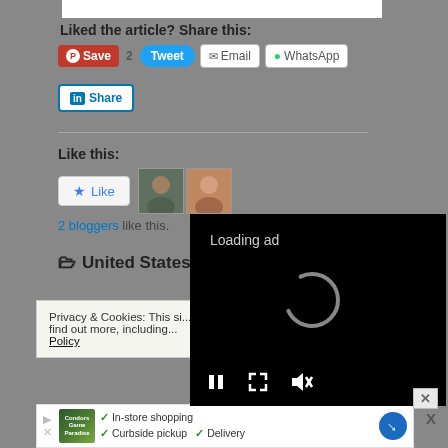Liked the article? Share this:
[Figure (screenshot): Social sharing buttons: Save (Pinterest), 2, Tweet, Email, WhatsApp, LinkedIn Share]
Like this:
[Figure (screenshot): Like button with two blogger avatars, '2 bloggers like this.' text]
2 bloggers like this.
United States c
Privacy & Cookies: This si... website, you agree to their... To find out more, including... Policy
[Figure (screenshot): Loading ad overlay with spinner and media controls (pause, fullscreen, mute)]
[Figure (screenshot): Bottom advertisement bar: In-store shopping, Curbside pickup, Delivery]